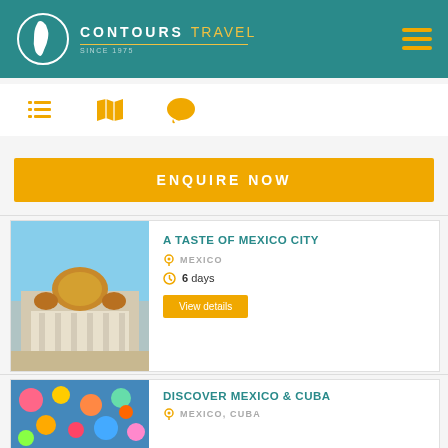CONTOURS TRAVEL — Since 1975
[Figure (illustration): Three orange icons: list/bullet icon, map icon, and speech bubble/chat icon in a toolbar row]
ENQUIRE NOW
A TASTE OF MEXICO CITY
MEXICO
6 days
View details
[Figure (photo): Aerial/front view of a grand domed historic building in Mexico City (Palacio de Bellas Artes), with a busy plaza in front]
DISCOVER MEXICO & CUBA
MEXICO, CUBA
[Figure (photo): Colorful Mexican folk art or textile pattern with bright colors and decorative designs]